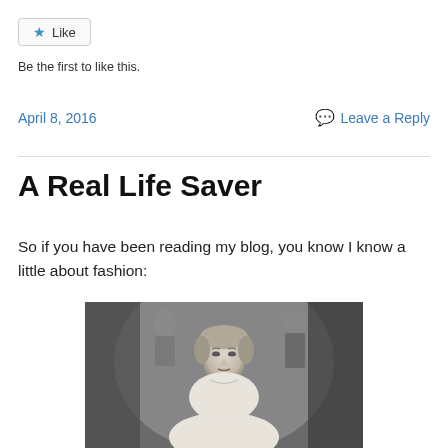★ Like
Be the first to like this.
April 8, 2016
Leave a Reply
A Real Life Saver
So if you have been reading my blog, you know I know a little about fashion:
[Figure (photo): Black and white vintage photograph of a woman in formal attire, seated or standing, with other figures visible in the background. Indoor setting with architectural elements visible.]